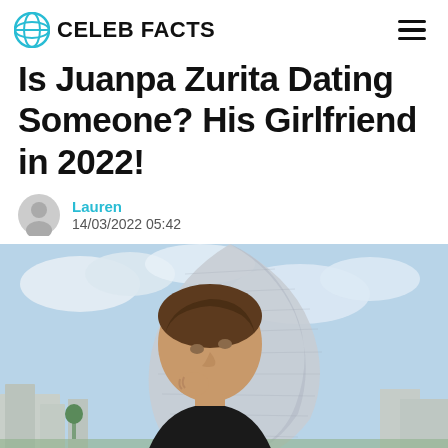CELEB FACTS
Is Juanpa Zurita Dating Someone? His Girlfriend in 2022!
Lauren
14/03/2022 05:42
[Figure (photo): Young man with short brown wavy hair, wearing a black t-shirt, posed in a contemplative stance with hand near chin, against a background showing a modern silver metallic building and urban skyline with cloudy blue sky.]